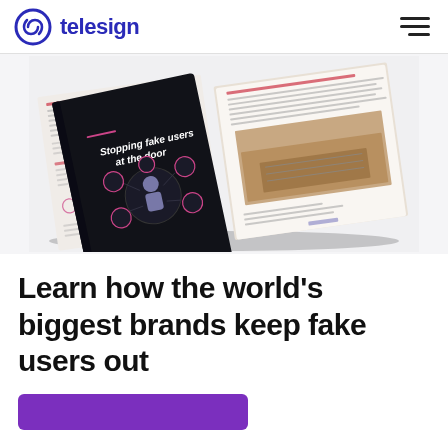telesign
[Figure (photo): An open book/brochure showing a dark cover with text 'Stopping fake users at the door' and an interior spread with text and a photo of hands on a laptop keyboard.]
Learn how the world’s biggest brands keep fake users out